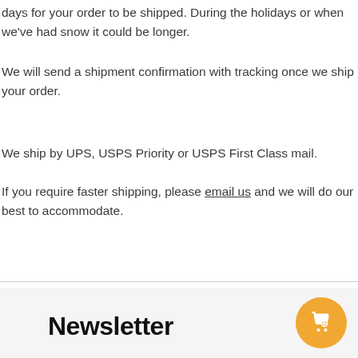days for your order to be shipped. During the holidays or when we've had snow it could be longer.
We will send a shipment confirmation with tracking once we ship your order.
We ship by UPS, USPS Priority or USPS First Class mail.
If you require faster shipping, please email us and we will do our best to accommodate.
Newsletter